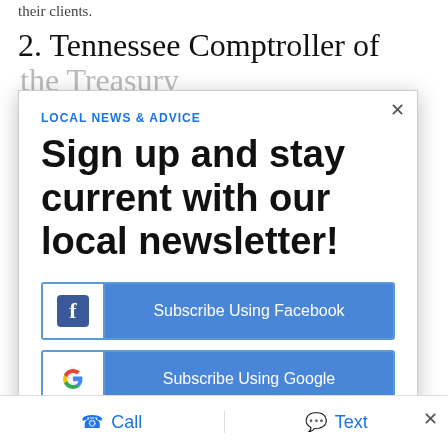their clients.
2. Tennessee Comptroller of
the Treasury
[Figure (screenshot): Modal overlay with newsletter signup prompt. Header: 'LOCAL NEWS & ADVICE'. Headline: 'Sign up and stay current with our local newsletter!'. Two buttons: 'Subscribe Using Facebook' and 'Subscribe Using Google'. A third partially visible dark button below. An X close button in the top right.]
Call    Text